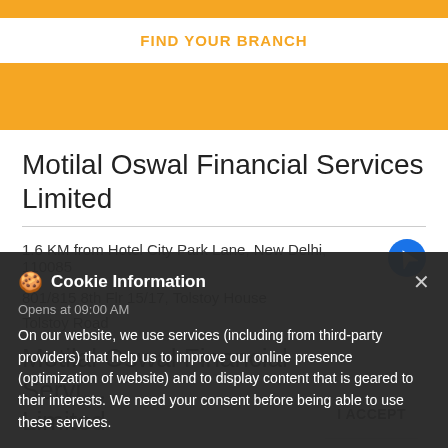[Figure (screenshot): Orange banner with FIND YOUR BRANCH button]
Motilal Oswal Financial Services Limited
1.6 KM from Hotel City Park Lane, New Delhi, 110085
801/815 8th Flr 15/17, Tolstoy House
Tolstoy Road
Cookie Information - On our website, we use services (including from third-party providers) that help us to improve our online presence (optimization of website) and to display content that is geared to their interests. We need your consent before being able to use these services.
Opens at 09:00 AM
Motilal Oswal Financial Services Limited
I ACCEPT